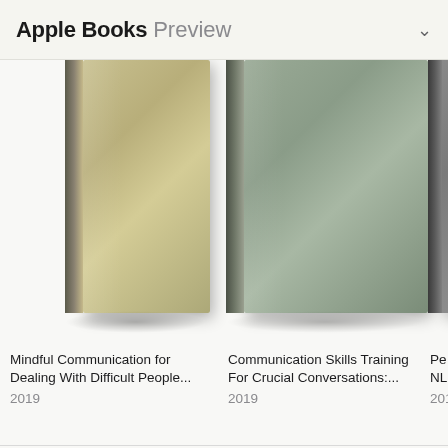Apple Books Preview
[Figure (illustration): Book cover for 'Mindful Communication for Dealing With Difficult People...' (2019) — olive/khaki gradient cover]
Mindful Communication for Dealing With Difficult People...
2019
[Figure (illustration): Book cover for 'Communication Skills Training For Crucial Conversations:...' (2019) — sage green gradient cover]
Communication Skills Training For Crucial Conversations:...
2019
[Figure (illustration): Book cover for 'Pe... NL...' (201...) — partially visible dark grey gradient cover]
Pe...
NL...
201...